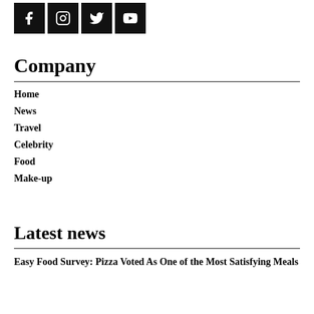[Figure (other): Social media icons: Facebook, Instagram, Twitter, YouTube — white icons on black square backgrounds]
Company
Home
News
Travel
Celebrity
Food
Make-up
Latest news
Easy Food Survey: Pizza Voted As One of the Most Satisfying Meals